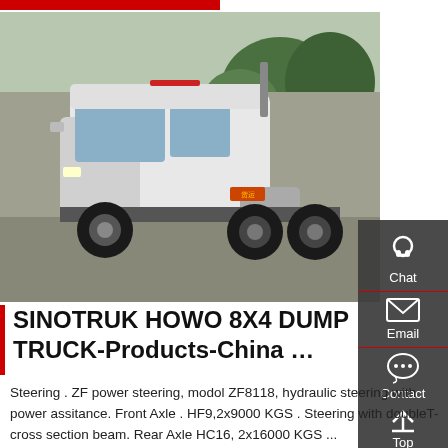[Figure (photo): A white Sinotruk HOWO heavy-duty tractor truck parked on a paved lot with trees in the background.]
SINOTRUK HOWO 8X4 DUMP TRUCK-Products-China …
Steering . ZF power steering, modol ZF8118, hydraulic steering with power assitance. Front Axle . HF9,2x9000 KGS . Steering with doubleT-cross section beam. Rear Axle HC16, 2x16000 KGS ...